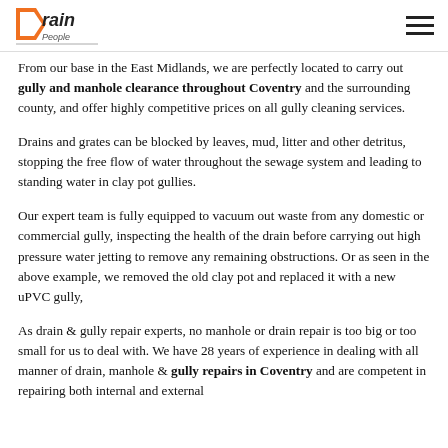Drain People logo and navigation
From our base in the East Midlands, we are perfectly located to carry out gully and manhole clearance throughout Coventry and the surrounding county, and offer highly competitive prices on all gully cleaning services.
Drains and grates can be blocked by leaves, mud, litter and other detritus, stopping the free flow of water throughout the sewage system and leading to standing water in clay pot gullies.
Our expert team is fully equipped to vacuum out waste from any domestic or commercial gully, inspecting the health of the drain before carrying out high pressure water jetting to remove any remaining obstructions. Or as seen in the above example, we removed the old clay pot and replaced it with a new uPVC gully,
As drain & gully repair experts, no manhole or drain repair is too big or too small for us to deal with. We have 28 years of experience in dealing with all manner of drain, manhole & gully repairs in Coventry and are competent in repairing both internal and external